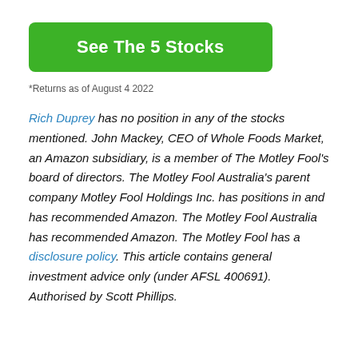[Figure (other): Green button with text 'See The 5 Stocks']
*Returns as of August 4 2022
Rich Duprey has no position in any of the stocks mentioned. John Mackey, CEO of Whole Foods Market, an Amazon subsidiary, is a member of The Motley Fool's board of directors. The Motley Fool Australia's parent company Motley Fool Holdings Inc. has positions in and has recommended Amazon. The Motley Fool Australia has recommended Amazon. The Motley Fool has a disclosure policy. This article contains general investment advice only (under AFSL 400691). Authorised by Scott Phillips.